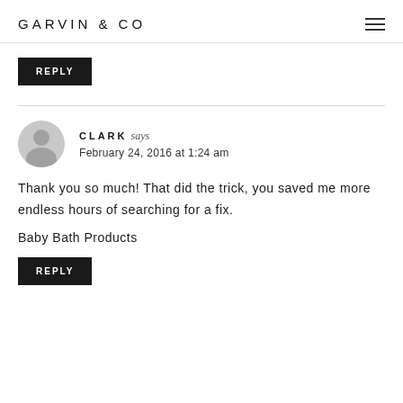GARVIN & CO
REPLY
CLARK says
February 24, 2016 at 1:24 am
Thank you so much! That did the trick, you saved me more endless hours of searching for a fix.
Baby Bath Products
REPLY